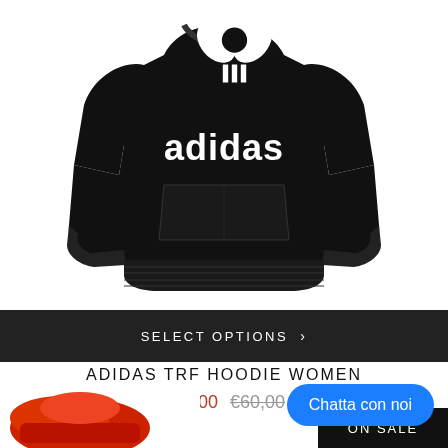[Figure (photo): Black Adidas Originals TRF hoodie sweatshirt with white trefoil logo and 'adidas' text on the chest, with front pocket, shown on white background]
SELECT OPTIONS >
ADIDAS TRF HOODIE WOMEN
€30,00  €60,00
Chatta con noi
[Figure (photo): Partial view of next product (red item) at bottom of page]
ON SALE